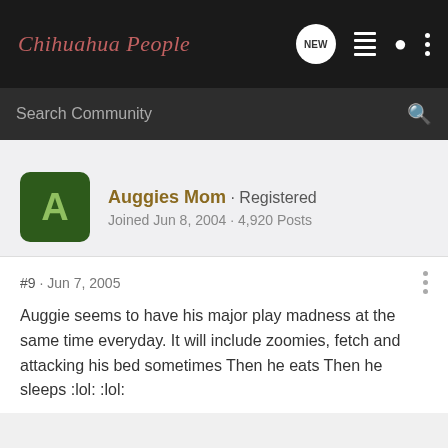Chihuahua People
Search Community
Auggies Mom · Registered
Joined Jun 8, 2004 · 4,920 Posts
#9 · Jun 7, 2005
Auggie seems to have his major play madness at the same time everyday. It will include zoomies, fetch and attacking his bed sometimes Then he eats Then he sleeps :lol: :lol: